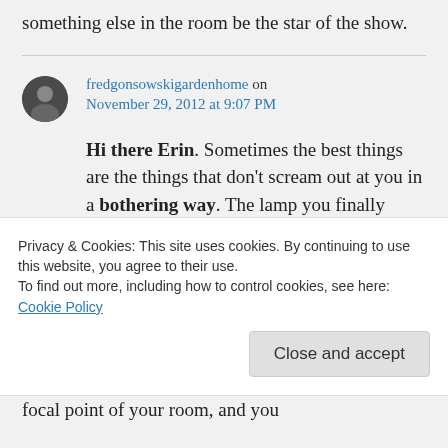something else in the room be the star of the show.
fredgonsowskigardenhome on November 29, 2012 at 9:07 PM
Hi there Erin. Sometimes the best things are the things that don't scream out at you in a bothering way. The lamp you finally
Privacy & Cookies: This site uses cookies. By continuing to use this website, you agree to their use.
To find out more, including how to control cookies, see here: Cookie Policy
Close and accept
focal point of your room, and you